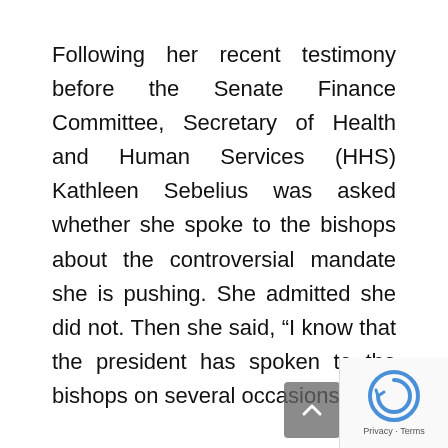Following her recent testimony before the Senate Finance Committee, Secretary of Health and Human Services (HHS) Kathleen Sebelius was asked whether she spoke to the bishops about the controversial mandate she is pushing. She admitted she did not. Then she said, “I know that the president has spoken to the bishops on several occasions.”
Sebelius was wrong. Bishop William Lori, who heads the bishops’ Ad Hoc Committee for Religious Liberty, recently said administration officials should have sat down